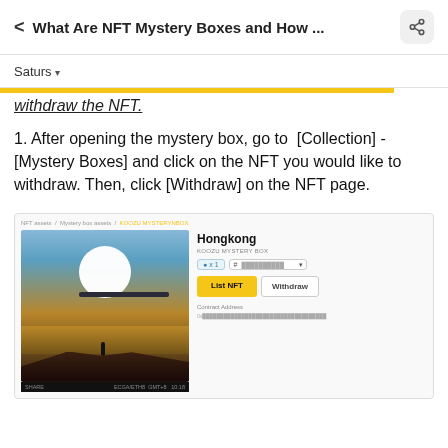What Are NFT Mystery Boxes and How ...
Saturs
withdraw the NFT.
1. After opening the mystery box, go to [Collection] - [Mystery Boxes] and click on the NFT you would like to withdraw. Then, click [Withdraw] on the NFT page.
[Figure (screenshot): Screenshot of NFT page showing a Hongkong NFT item from a mystery box collection, with List NFT and Withdraw buttons visible.]